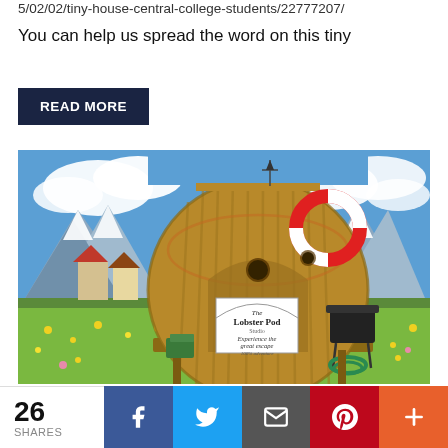5/02/02/tiny-house-central-college-students/22777207/
You can help us spread the word on this tiny
READ MORE
[Figure (photo): A barrel-shaped wooden tiny house structure called 'Lobster Pod' with a life preserver ring on top, set against a backdrop of snow-capped mountains and a field of yellow wildflowers. The structure has a sign reading 'The Lobster Pod Studio - Experience the great escape - 100% adventure'. A BBQ grill is visible to the right side.]
26 SHARES
f
Twitter bird icon
Email icon
Pinterest P icon
+